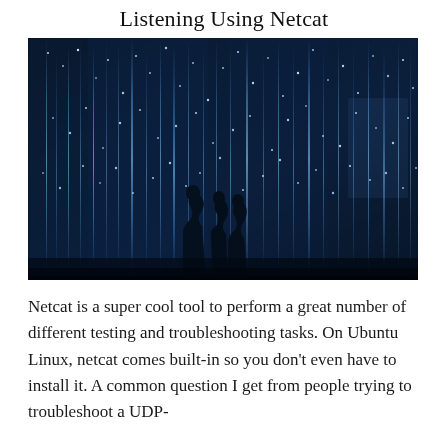Listening Using Netcat
[Figure (photo): Silhouettes of people standing in a dark room filled with vertical streaks of blue-white light resembling a digital rain or data stream environment.]
Netcat is a super cool tool to perform a great number of different testing and troubleshooting tasks. On Ubuntu Linux, netcat comes built-in so you don't even have to install it. A common question I get from people trying to troubleshoot a UDP-